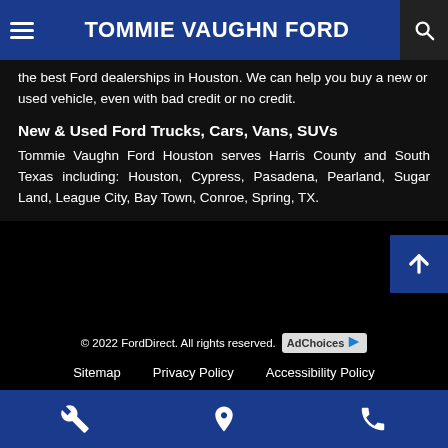TOMMIE VAUGHN FORD
the best Ford dealerships in Houston. We can help you buy a new or used vehicle, even with bad credit or no credit.
New & Used Ford Trucks, Cars, Vans, SUVs
Tommie Vaughn Ford Houston serves Harris County and South Texas including: Houston, Cypress, Pasadena, Pearland, Sugar Land, League City, Bay Town, Conroe, Spring, TX.
© 2022 FordDirect. All rights reserved. AdChoices
Sitemap   Privacy Policy   Accessibility Policy